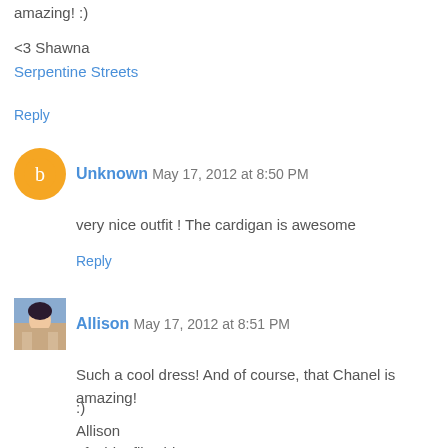amazing! :)
<3 Shawna
Serpentine Streets
Reply
Unknown  May 17, 2012 at 8:50 PM
very nice outfit ! The cardigan is awesome
Reply
Allison  May 17, 2012 at 8:51 PM
Such a cool dress! And of course, that Chanel is amazing!

:)
Allison
afashionfiles.blogspot.com
Reply